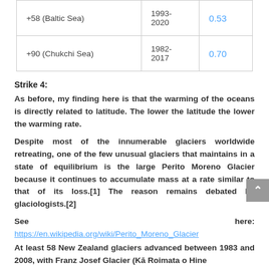|  |  |  |
| --- | --- | --- |
| +58 (Baltic Sea) | 1993-
2020 | 0.53 |
| +90 (Chukchi Sea) | 1982-
2017 | 0.70 |
Strike 4:
As before, my finding here is that the warming of the oceans is directly related to latitude. The lower the latitude the lower the warming rate.
Despite most of the innumerable glaciers worldwide retreating, one of the few unusual glaciers that maintains in a state of equilibrium is the large Perito Moreno Glacier because it continues to accumulate mass at a rate similar to that of its loss.[1] The reason remains debated by glaciologists.[2]
See here:
https://en.wikipedia.org/wiki/Perito_Moreno_Glacier
At least 58 New Zealand glaciers advanced between 1983 and 2008, with Franz Josef Glacier (Kā Roimata o Hine